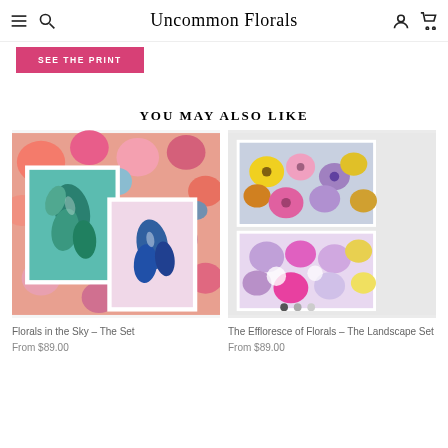Uncommon Florals
SEE THE PRINT
YOU MAY ALSO LIKE
[Figure (photo): Florals in the Sky – The Set product image showing two floral art prints against colorful flower background]
Florals in the Sky – The Set
From $89.00
[Figure (photo): The Effloresce of Florals – The Landscape Set product image showing two landscape floral prints with carousel dots]
The Effloresce of Florals – The Landscape Set
From $89.00